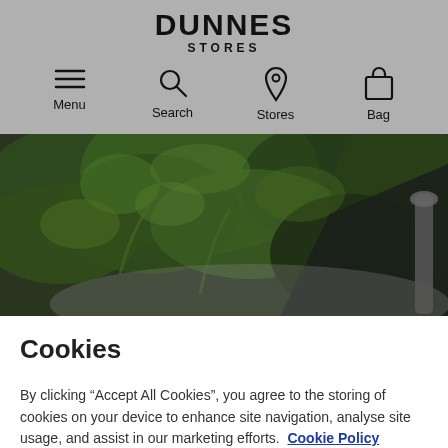DUNNES STORES
Menu
Search
Stores
Bag
[Figure (photo): Close-up photo of dark green kale leaves on a grey surface with dark background]
Cookies
By clicking “Accept All Cookies”, you agree to the storing of cookies on your device to enhance site navigation, analyse site usage, and assist in our marketing efforts. Cookie Policy